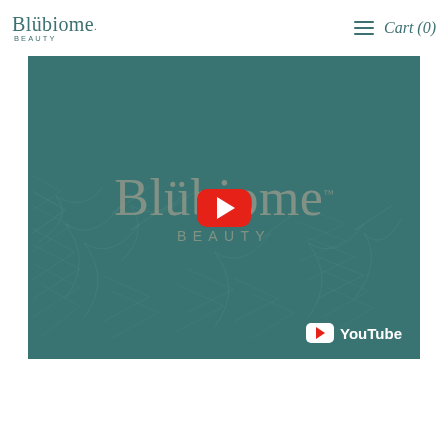[Figure (logo): Blübiome Beauty logo in teal/green color with umlaut over u]
Cart (0)
[Figure (screenshot): YouTube video thumbnail showing Blübiome Beauty branding on teal background with fern leaf pattern, red YouTube play button in center, and YouTube logo in bottom right corner]